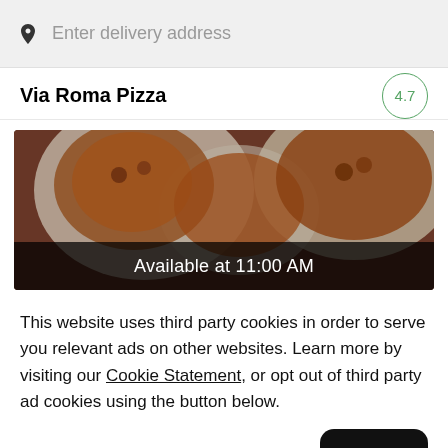Enter delivery address
Via Roma Pizza 4.7
[Figure (photo): Overhead view of pizzas on plates with red-checkered tablecloth, with text overlay 'Available at 11:00 AM']
This website uses third party cookies in order to serve you relevant ads on other websites. Learn more by visiting our Cookie Statement, or opt out of third party ad cookies using the button below.
Opt out
Got it